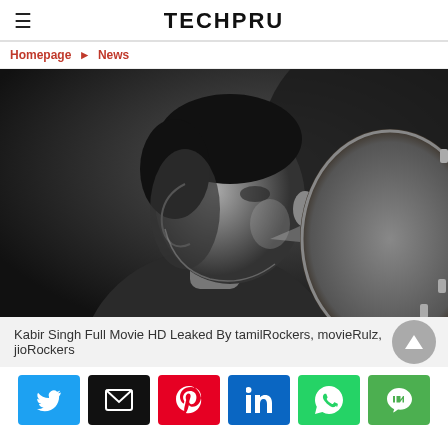TECHPRU
Homepage ► News
[Figure (photo): Black and white photo of a person (appears to be Shahid Kapoor as Kabir Singh) holding or touching a round object, dramatic lighting, side profile]
Kabir Singh Full Movie HD Leaked By tamilRockers, movieRulz, jioRockers
[Figure (infographic): Social sharing buttons: Twitter, Email, Pinterest, LinkedIn, WhatsApp, LINE]